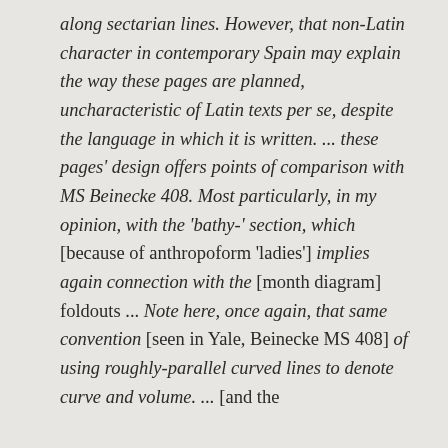along sectarian lines. However, that non-Latin character in contemporary Spain may explain the way these pages are planned, uncharacteristic of Latin texts per se, despite the language in which it is written. ... these pages' design offers points of comparison with MS Beinecke 408. Most particularly, in my opinion, with the 'bathy-' section, which [because of anthropoform 'ladies'] implies again connection with the [month diagram] foldouts ... Note here, once again, that same convention [seen in Yale, Beinecke MS 408] of using roughly-parallel curved lines to denote curve and volume. ... [and the